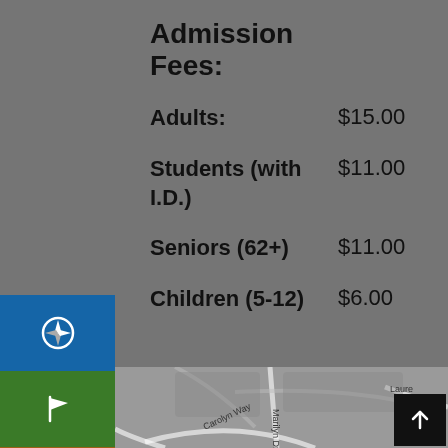Admission Fees:
Adults: $15.00
Students (with I.D.) $11.00
Seniors (62+) $11.00
Children (5-12) $6.00
[Figure (screenshot): Mobile app navigation sidebar with icons: compass (blue), flag (green), cursor (orange/brown), pin/location (dark red), pencil/edit (purple)]
[Figure (map): Street map showing Marilyn Dr, Carolyn Way, Laure (partial), and other roads in a neighborhood area]